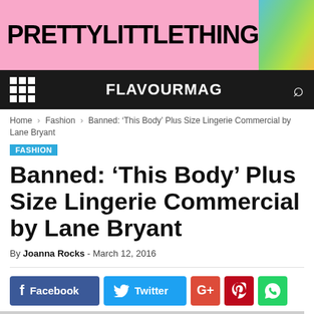[Figure (photo): PrettyLittleThing advertisement banner with pink background showing logo text and two women in green/yellow outfits on the right side]
FLAVOURMAG
Home › Fashion › Banned: ‘This Body’ Plus Size Lingerie Commercial by Lane Bryant
FASHION
Banned: ‘This Body’ Plus Size Lingerie Commercial by Lane Bryant
By Joanna Rocks - March 12, 2016
[Figure (infographic): Social media sharing buttons: Facebook (blue), Twitter (cyan), Google+ (red), Pinterest (red), WhatsApp (green)]
[Figure (photo): Partial view of a Lane Bryant lingerie commercial image with white text overlaid reading THIS BODY IS MADE FOR GLAMOUR and a silhouette figure on the right]